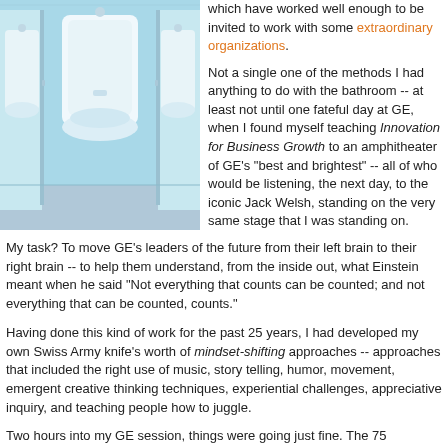[Figure (photo): A photo of white urinals mounted on a light blue tiled wall in a public bathroom.]
which have worked well enough to be invited to work with some extraordinary organizations.
Not a single one of the methods I had anything to do with the bathroom -- at least not until one fateful day at GE, when I found myself teaching Innovation for Business Growth to an amphitheater of GE's "best and brightest" -- all of who would be listening, the next day, to the iconic Jack Welsh, standing on the very same stage that I was standing on.
My task? To move GE's leaders of the future from their left brain to their right brain -- to help them understand, from the inside out, what Einstein meant when he said "Not everything that counts can be counted; and not everything that can be counted, counts."
Having done this kind of work for the past 25 years, I had developed my own Swiss Army knife's worth of mindset-shifting approaches -- approaches that included the right use of music, story telling, humor, movement, emergent creative thinking techniques, experiential challenges, appreciative inquiry, and teaching people how to juggle.
Two hours into my GE session, things were going just fine. The 75 participants from 11 countries had given up their fear that I was going to make them sing Kumbaya and I had given up my fear that someone would soon discover my graduate school education was in poetry, not business.
At 10 am, my advanced facilitator skills kicked in and I began to notice th...